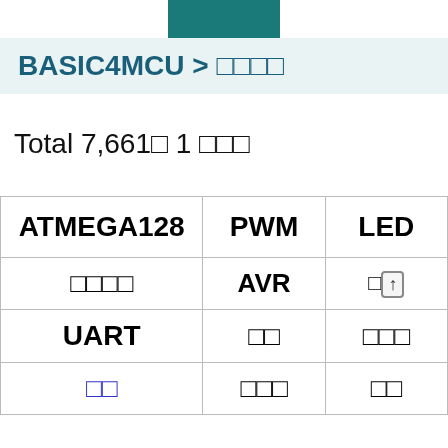[icon]
BASIC4MCU > □□□□
Total 7,661□ 1 □□□
| ATMEGA128 | PWM | LED |
| --- | --- | --- |
| □□□□ | AVR | □[↑] |
| UART | □□ | □□□ |
| □□ | □□□ | □□ |